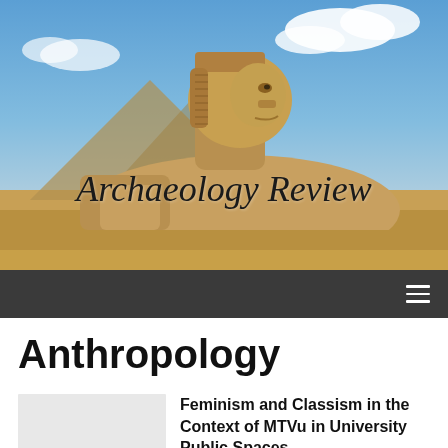[Figure (photo): Header photo of the Great Sphinx of Giza with blue sky and clouds in the background, with 'Archaeology Review' text overlay in italic serif font]
Archaeology Review
≡
Anthropology
[Figure (photo): Thumbnail placeholder image (light gray box)]
Feminism and Classism in the Context of MTVu in University Public Spaces
December 16, 2011   Carl Feagans